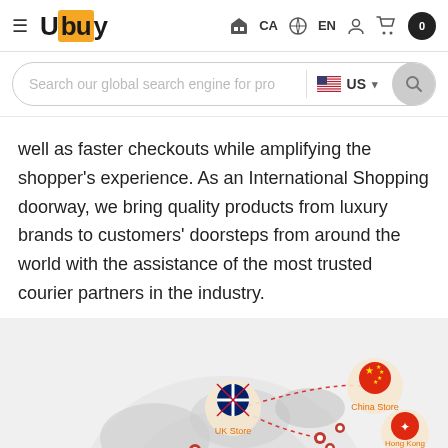[Figure (screenshot): Ubuy e-commerce website header with logo, navigation icons for CA country, EN language, user account and cart showing 0 items]
[Figure (screenshot): Search bar with placeholder text 'Search our global search engine for pro' and US flag country selector with search button]
well as faster checkouts while amplifying the shopper's experience. As an International Shopping doorway, we bring quality products from luxury brands to customers' doorsteps from around the world with the assistance of the most trusted courier partners in the industry.
[Figure (map): World map showing international store locations including UK Store, China Store, and Hong Kong Store connected by dotted red lines indicating shipping routes]